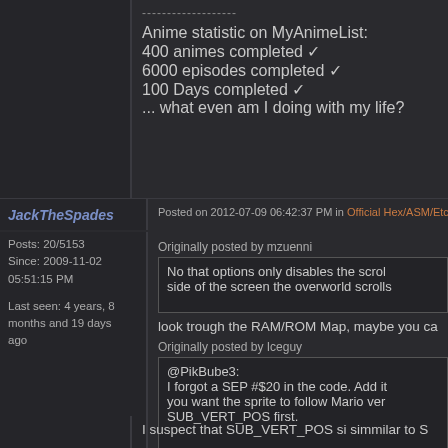-------------------
Anime statistic on MyAnimeList:
400 animes completed ✓
6000 episodes completed ✓
100 Days completed ✓
... what even am I doing with my life?
JackTheSpades
Posted on 2012-07-09 06:42:37 PM in Official Hex/ASM/Etc. Help
Posts: 20/5153
Since: 2009-11-02 05:51:15 PM

Last seen: 4 years, 8 months and 19 days ago
Originally posted by mzuenni
No that options only disables the scrol... side of the screen the overworld scrolls...
look trough the RAM/ROM Map, maybe you ca...
Originally posted by Iceguy
@PikBube3:
I forgot a SEP #$20 in the code. Add it...
you want the sprite to follow Mario ver...
SUB_VERT_POS first.
I suspect that SUB_VERT_POS si simmilar to S...